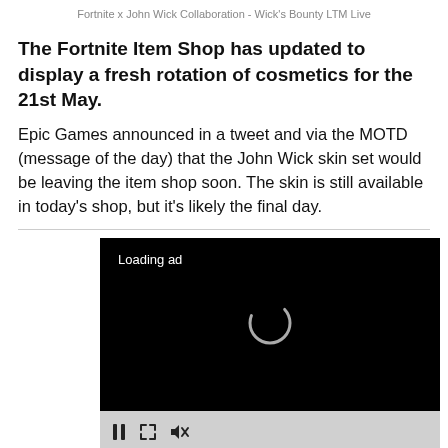Fortnite x John Wick Collaboration - Wick’s Bounty LTM Live
The Fortnite Item Shop has updated to display a fresh rotation of cosmetics for the 21st May.
Epic Games announced in a tweet and via the MOTD (message of the day) that the John Wick skin set would be leaving the item shop soon. The skin is still available in today’s shop, but it’s likely the final day.
[Figure (screenshot): Black ad loading screen with 'Loading ad' text and a spinner icon, with a grey media controls bar at the bottom showing pause, expand and mute icons]